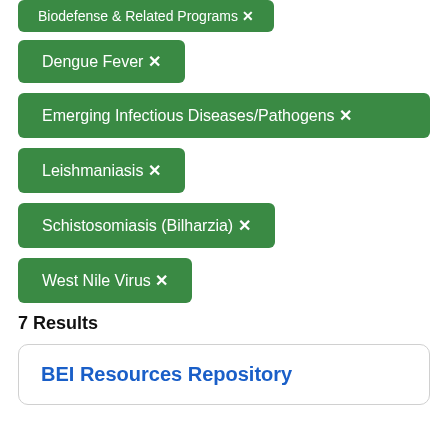Biodefense & Related Programs ×
Dengue Fever ×
Emerging Infectious Diseases/Pathogens ×
Leishmaniasis ×
Schistosomiasis (Bilharzia) ×
West Nile Virus ×
7 Results
BEI Resources Repository